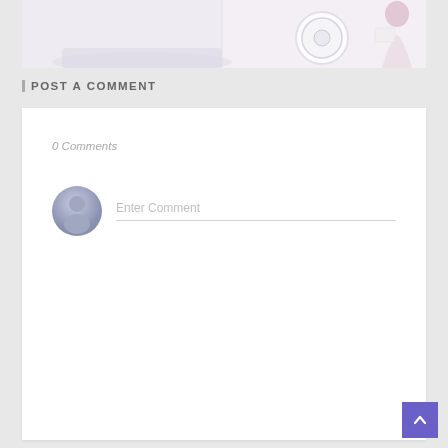[Figure (photo): Top portion of a lifestyle/home image showing a person in a white room, cropped at the bottom of the frame]
POST A COMMENT
0 Comments
[Figure (illustration): Default user avatar icon — grey circle with a person silhouette]
Enter Comment